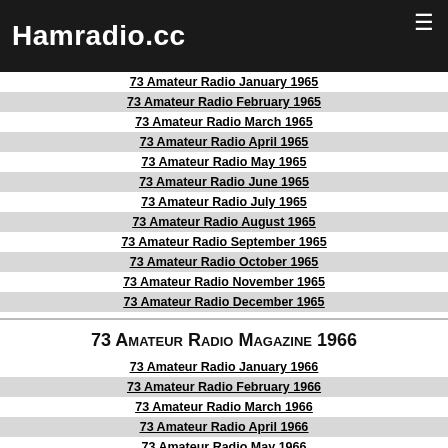Hamradio.cc
73 Amateur Radio January 1965
73 Amateur Radio February 1965
73 Amateur Radio March 1965
73 Amateur Radio April 1965
73 Amateur Radio May 1965
73 Amateur Radio June 1965
73 Amateur Radio July 1965
73 Amateur Radio August 1965
73 Amateur Radio September 1965
73 Amateur Radio October 1965
73 Amateur Radio November 1965
73 Amateur Radio December 1965
73 Amateur Radio Magazine 1966
73 Amateur Radio January 1966
73 Amateur Radio February 1966
73 Amateur Radio March 1966
73 Amateur Radio April 1966
73 Amateur Radio May 1966
73 Amateur Radio June 1966
73 Amateur Radio July 1966
73 Amateur Radio August 1966
73 Amateur Radio September 1966
73 Amateur Radio October 1966
73 Amateur Radio November 1966
73 Amateur Radio December 1966
73 Amateur Radio Magazine 1967
73 Amateur Radio January 1967
73 Amateur Radio February 1967